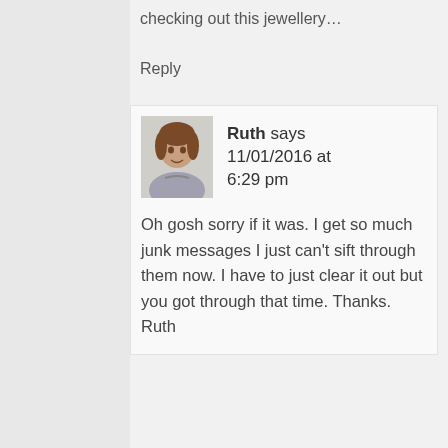checking out this jewellery…
Reply
Ruth says 11/01/2016 at 6:29 pm
[Figure (photo): Avatar photo of Ruth, a woman in a grey sleeveless top]
Oh gosh sorry if it was. I get so much junk messages I just can't sift through them now. I have to just clear it out but you got through that time. Thanks. Ruth